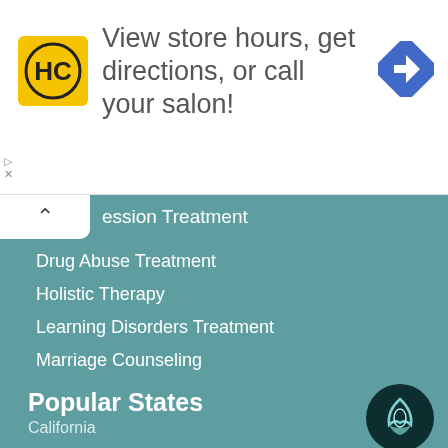[Figure (screenshot): Advertisement banner: HC logo (yellow), text 'View store hours, get directions, or call your salon!', blue navigation/directions icon on the right. Small ad control icons on left.]
...ession Treatment
Drug Abuse Treatment
Holistic Therapy
Learning Disorders Treatment
Marriage Counseling
Online Treatment
PTSD Treatment
View All Conditions
Popular States
California